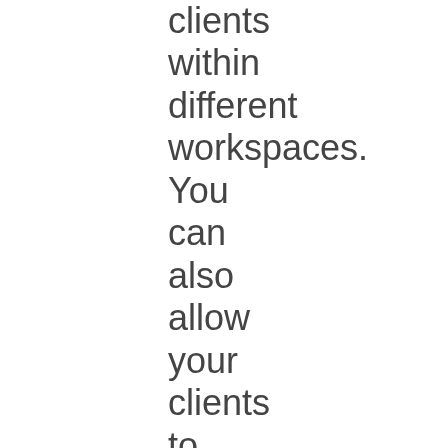clients within different workspaces. You can also allow your clients to view their individual accounts, scheduled and